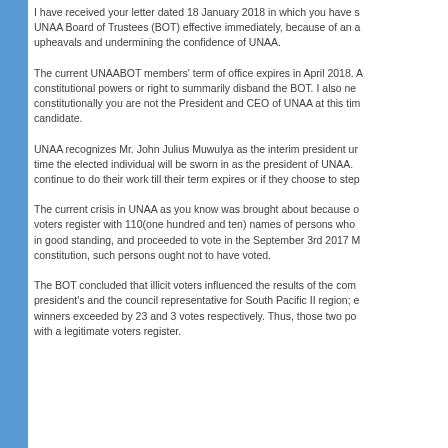I have received your letter dated 18 January 2018 in which you have sought to dissolve the UNAA Board of Trustees (BOT) effective immediately, because of an alleged creation of political upheavals and undermining the confidence of UNAA.
The current UNAABOT members' term of office expires in April 2018. As such, you have no constitutional powers or right to summarily disband the BOT. I also need to remind you that constitutionally you are not the President and CEO of UNAA at this time as you are a presidential candidate.
UNAA recognizes Mr. John Julius Muwulya as the interim president until such time the elected individual will be sworn in as the president of UNAA. The BOT members continue to do their work till their term expires or if they choose to step down.
The current crisis in UNAA as you know was brought about because of a voters register with 110(one hundred and ten) names of persons who were not members in good standing, and proceeded to vote in the September 3rd 2017 M... per our constitution, such persons ought not to have voted.
The BOT concluded that illicit voters influenced the results of the comp... president's and the council representative for South Pacific II region; e... winners exceeded by 23 and 3 votes respectively. Thus, those two po... with a legitimate voters register.